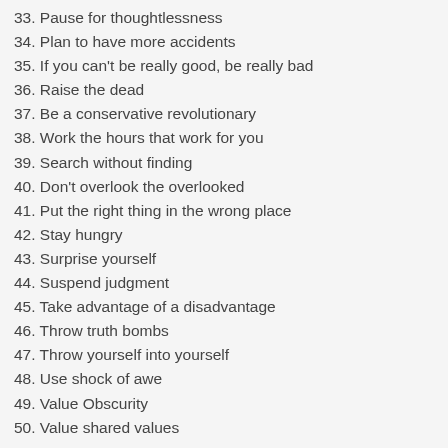33. Pause for thoughtlessness
34. Plan to have more accidents
35. If you can't be really good, be really bad
36. Raise the dead
37. Be a conservative revolutionary
38. Work the hours that work for you
39. Search without finding
40. Don't overlook the overlooked
41. Put the right thing in the wrong place
42. Stay hungry
43. Surprise yourself
44. Suspend judgment
45. Take advantage of a disadvantage
46. Throw truth bombs
47. Throw yourself into yourself
48. Use shock of awe
49. Value Obscurity
50. Value shared values